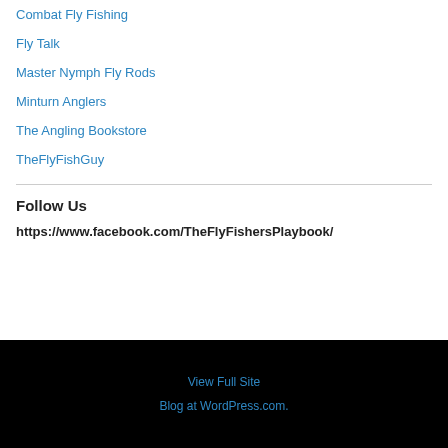Combat Fly Fishing
Fly Talk
Master Nymph Fly Rods
Minturn Anglers
The Angling Bookstore
TheFlyFishGuy
Follow Us
https://www.facebook.com/TheFlyFishersPlaybook/
View Full Site
Blog at WordPress.com.